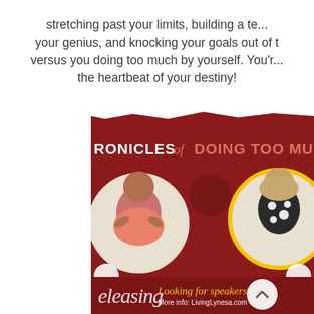stretching past your limits, building a team, your genius, and knocking your goals out of the park... versus you doing too much by yourself. You're the heartbeat of your destiny!
[Figure (screenshot): A podcast or event promotional graphic on a dark red background. Partially visible title reads 'CHRONICLES of DOING TOO MUCH P...' with two circular portrait photos of women (one wearing pink, one in black and white polka dot outfit). A yellow name bar at the bottom shows partial names 'ael Riley' and 'Krystal Ha...' A dark red promo bar at the bottom reads 'Looking for speakers More info: LivingLynesa.com'. A white circular scroll-up arrow button is visible. Cursive text at lower left partially reads something like 'eleasing'.]